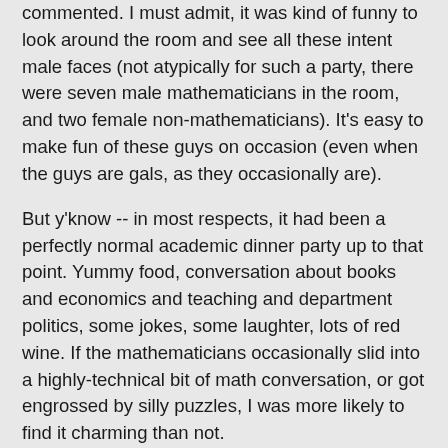commented. I must admit, it was kind of funny to look around the room and see all these intent male faces (not atypically for such a party, there were seven male mathematicians in the room, and two female non-mathematicians). It's easy to make fun of these guys on occasion (even when the guys are gals, as they occasionally are).
But y'know -- in most respects, it had been a perfectly normal academic dinner party up to that point. Yummy food, conversation about books and economics and teaching and department politics, some jokes, some laughter, lots of red wine. If the mathematicians occasionally slid into a highly-technical bit of math conversation, or got engrossed by silly puzzles, I was more likely to find it charming than not.
Maybe that's 'cause I'm a math groupie. Maybe it's because I'm plenty geeky myself (I appropriated one of the toys a few minutes after her comment, despite her valiant attempts to save me from myself). I don't really need to figure out why I